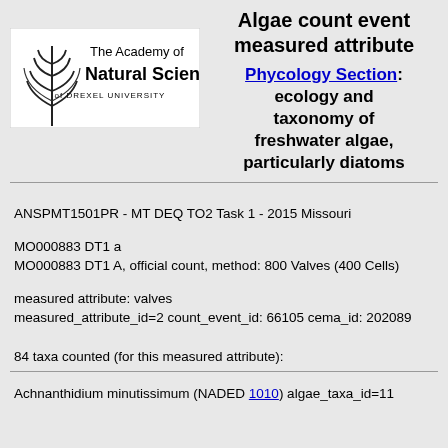Algae count event measured attribute
[Figure (logo): The Academy of Natural Sciences of Drexel University logo with stylized leaf/wheat graphic]
Phycology Section: ecology and taxonomy of freshwater algae, particularly diatoms
ANSPMT1501PR - MT DEQ TO2 Task 1 - 2015 Missouri
MO000883 DT1 a
MO000883 DT1 A, official count, method: 800 Valves (400 Cells)
measured attribute: valves
measured_attribute_id=2 count_event_id: 66105 cema_id: 202089
84 taxa counted (for this measured attribute):
Achnanthidium minutissimum (NADED 1010) algae_taxa_id=11